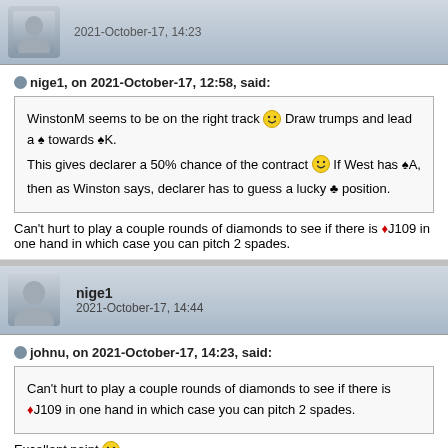2021-October-17, 14:23
nige1, on 2021-October-17, 12:58, said:
WinstonM seems to be on the right track :) Draw trumps and lead a ♠ towards ♠K.
This gives declarer a 50% chance of the contract :) If West has ♠A, then as Winston says, declarer has to guess a lucky ♣ position.
Can't hurt to play a couple rounds of diamonds to see if there is ♦J109 in one hand in which case you can pitch 2 spades.
nige1
2021-October-17, 14:44
johnu, on 2021-October-17, 14:23, said:
Can't hurt to play a couple rounds of diamonds to see if there is ♦J109 in one hand in which case you can pitch 2 spades.
Excellent point :)
Furthermore, If West is dealt ♦JT9x, but without ♠A, then he can cunningly follow with ♦ honours on the first 2 rounds, tempting...